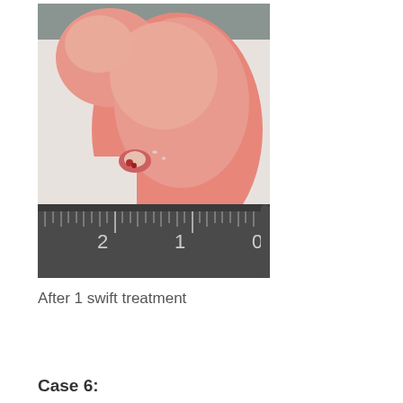[Figure (photo): Clinical photograph of a foot/heel showing an inflamed, reddened wound or lesion (verruca/wart) with a metal ruler showing measurements 0, 1, 2 cm placed at the bottom of the image for scale.]
After 1 swift treatment
Case 6: